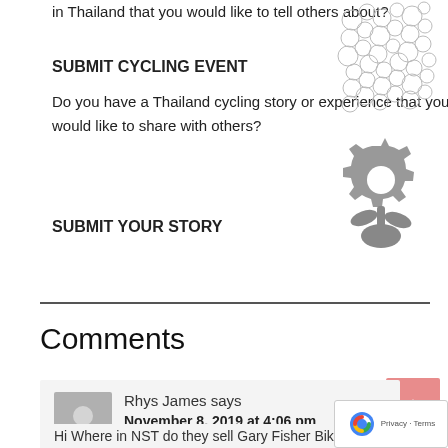in Thailand that you would like to tell others about?
SUBMIT CYCLING EVENT
Do you have a Thailand cycling story or experience that you would like to share with others?
SUBMIT YOUR STORY
[Figure (illustration): Bicycle pattern illustration made of overlapping bicycle outlines]
[Figure (illustration): Gear/cogwheel flower icon in grey]
Comments
Rhys James says
November 8, 2019 at 4:06 pm
Hi Where in NST do they sell Gary Fisher Bike?